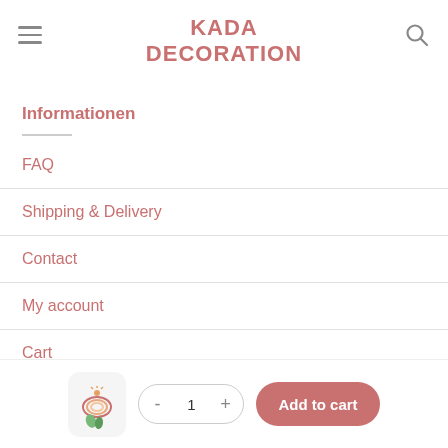KADA DECORATION
Informationen
FAQ
Shipping & Delivery
Contact
My account
Cart